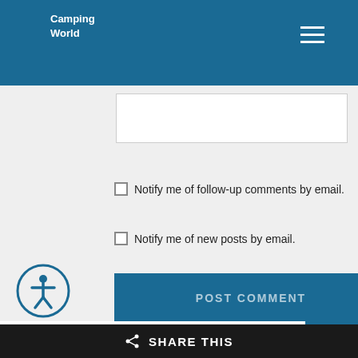Camping World
[Figure (screenshot): Text input box (comment field), partially visible]
Notify me of follow-up comments by email.
Notify me of new posts by email.
[Figure (other): POST COMMENT button in blue]
[Figure (other): Accessibility icon - person in circle]
Most Popular Right Now
[Figure (other): Scroll to top arrow button]
SHARE THIS